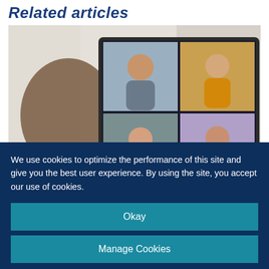Related articles
[Figure (photo): Woman typing on a laptop. The laptop screen shows a video conference call with 5 participants visible in a grid layout.]
We use cookies to optimize the performance of this site and give you the best user experience. By using the site, you accept our use of cookies.
Okay
Manage Cookies